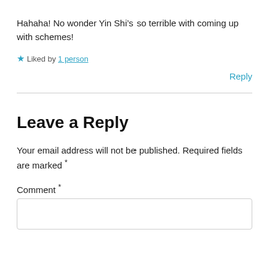Hahaha! No wonder Yin Shi’s so terrible with coming up with schemes!
★ Liked by 1 person
Reply
Leave a Reply
Your email address will not be published. Required fields are marked *
Comment *